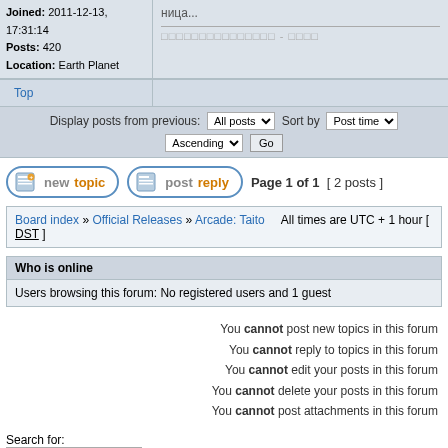Joined: 2011-12-13, 17:31:14
Posts: 420
Location: Earth Planet
Top
Display posts from previous: All posts  Sort by  Post time
Ascending  Go
Page 1 of 1  [ 2 posts ]
Board index » Official Releases » Arcade: Taito   All times are UTC + 1 hour [ DST ]
Who is online
Users browsing this forum: No registered users and 1 guest
You cannot post new topics in this forum
You cannot reply to topics in this forum
You cannot edit your posts in this forum
You cannot delete your posts in this forum
You cannot post attachments in this forum
Search for:
Jump to:  Arcade: Taito
Powered by phpBB® Forum Software © phpBB Group
[ Time : 0.017s | 13 Queries | GZIP : On ]